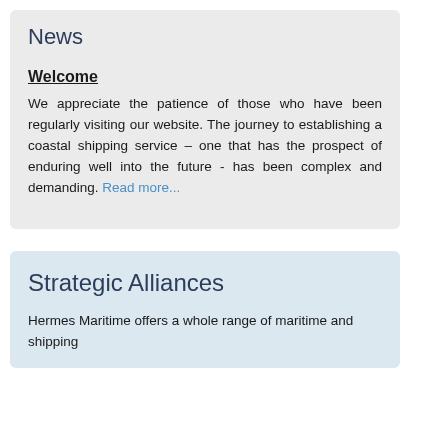News
Welcome
We appreciate the patience of those who have been regularly visiting our website. The journey to establishing a coastal shipping service – one that has the prospect of enduring well into the future - has been complex and demanding. Read more...
Strategic Alliances
Hermes Maritime offers a whole range of maritime and shipping